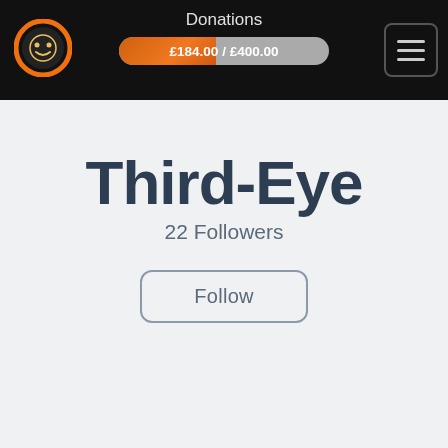[Figure (logo): Circular headphone logo with orange ring and face icon on black background]
Donations £184.00 / £400.00
[Figure (screenshot): Hamburger menu icon (three horizontal lines) in a rounded square button]
Third-Eye
22 Followers
Follow